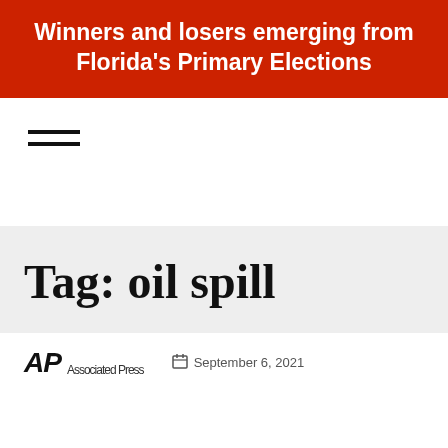Winners and losers emerging from Florida's Primary Elections
[Figure (other): Hamburger menu icon with three horizontal lines]
Tag: oil spill
AP Associated Press  September 6, 2021